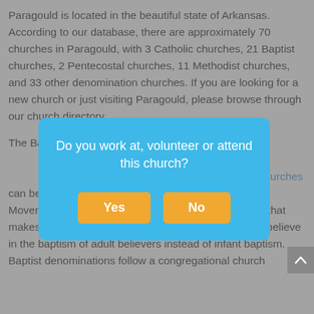Paragould is located in the beautiful state of Arkansas. According to our database, there are approximately 70 churches in Paragould, with 3 Catholic churches, 21 Baptist churches, 2 Pentecostal churches, 11 Methodist churches, and 33 other denomination churches. If you are looking for a new church or just visiting Paragould, please browse through our church directory.
The Baptist church is the largest church denomination in Paragould. The Baptist church members number in the hundreds of millions. Twenty-three million of Baptist churches can be traced back to John Smyth and the Separatist Movement in 1608 that began in England. Something that makes the Baptist church's beliefs unique is that they believe in the baptism of adult believers instead of infant baptism. Baptist denominations follow a congregational church government which places decision...
[Figure (screenshot): A modal dialog overlay with a sky-blue background asking 'Do you work at, volunteer or attend this church?' with two yellow buttons labeled 'Yes' and 'No'.]